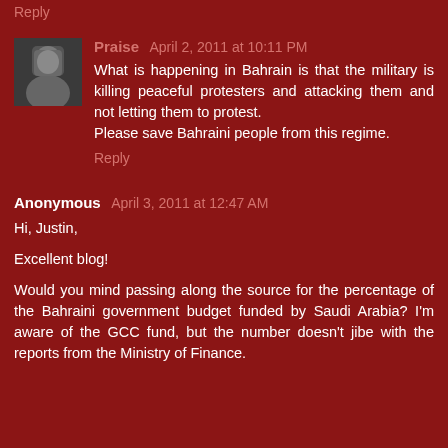Reply
Praise  April 2, 2011 at 10:11 PM
What is happening in Bahrain is that the military is killing peaceful protesters and attacking them and not letting them to protest.
Please save Bahraini people from this regime.
Reply
Anonymous  April 3, 2011 at 12:47 AM
Hi, Justin,

Excellent blog!

Would you mind passing along the source for the percentage of the Bahraini government budget funded by Saudi Arabia? I'm aware of the GCC fund, but the number doesn't jibe with the reports from the Ministry of Finance.